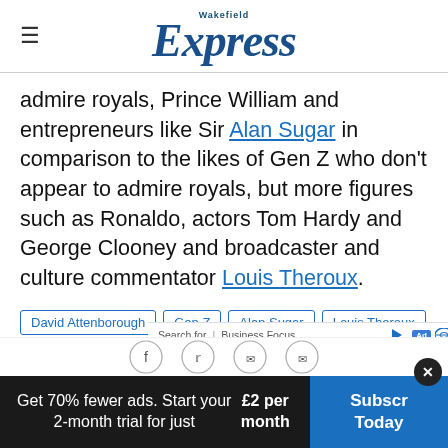Wakefield Express
admire royals, Prince William and entrepreneurs like Sir Alan Sugar in comparison to the likes of Gen Z who don't appear to admire royals, but more figures such as Ronaldo, actors Tom Hardy and George Clooney and broadcaster and culture commentator Louis Theroux.
David Attenborough
Gen Z
Alan Sugar
Louis Theroux
Kanye West
Search for | Business Focus — AD — 1. GENDER IDENTITY DISORDER
Get 70% fewer ads. Start your 2-month trial for just £2 per month | Subscribe Today